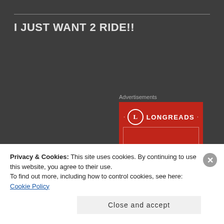I JUST WANT 2 RIDE!!
[Figure (logo): Longreads advertisement banner with red background, circular L logo, and LONGREADS text with horizontal lines on either side]
Privacy & Cookies: This site uses cookies. By continuing to use this website, you agree to their use.
To find out more, including how to control cookies, see here: Cookie Policy
Close and accept